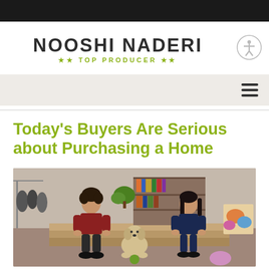NOOSHI NADERI ★★ TOP PRODUCER ★★
Today's Buyers Are Serious about Purchasing a Home
[Figure (photo): A young couple sitting on wooden steps with a fluffy white/golden dog between them, inside a home with shelves of books and plants in the background. The man on the left wears a dark red shirt, the woman on the right wears a dark blue top. Both appear to be tying their shoes.]